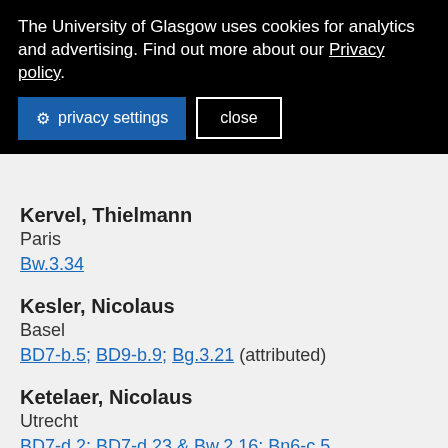The University of Glasgow uses cookies for analytics and advertising. Find out more about our Privacy policy.
privacy settings   close
Kervel, Thielmann
Paris
Bw.3.34
Kesler, Nicolaus
Basel
BD7-b.5; BD9-b.9; Bg.3.21 (attributed)
Ketelaer, Nicolaus
Utrecht
BD7-d.2; BD7-d.23 & Bw.2.16; Bn6-c.5